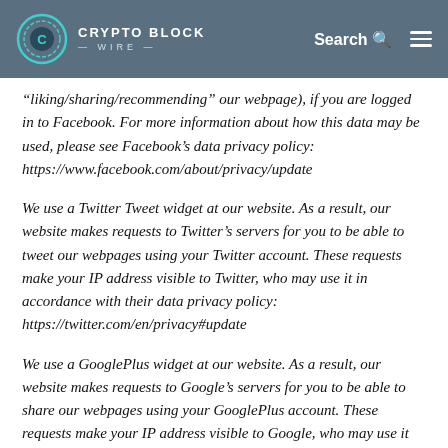[Figure (logo): Crypto Block Wire logo with circular teal icon and text, on dark blue-gray header bar with Search and menu icons]
“liking/sharing/recommending” our webpage), if you are logged in to Facebook. For more information about how this data may be used, please see Facebook’s data privacy policy: https://www.facebook.com/about/privacy/update
We use a Twitter Tweet widget at our website. As a result, our website makes requests to Twitter’s servers for you to be able to tweet our webpages using your Twitter account. These requests make your IP address visible to Twitter, who may use it in accordance with their data privacy policy: https://twitter.com/en/privacy#update
We use a GooglePlus widget at our website. As a result, our website makes requests to Google’s servers for you to be able to share our webpages using your GooglePlus account. These requests make your IP address visible to Google, who may use it